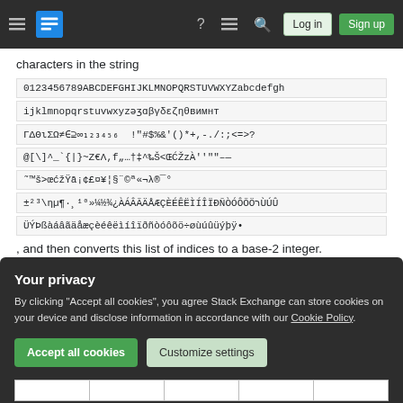Stack Exchange navigation bar with Log in and Sign up buttons
characters in the string
0123456789ABCDEFGHIJKLMNOPQRSTUVWXYZabcdefgh
ijklmnopqrstuvwxyzəʒɑβγδεζηθвимнт
ΓΔΘιΣΩ≠∈⊇∞₁₂₃₄₅₆  !"#$%&'()*+,-./:;<=>?
@[\]^_`{|}~Z€Λ,f„…†‡^‰Š<ŒĆŽzÀ''""–—
˜™š>œćžŸā¡¢£¤¥¦§¨©ª«¬λ®¯°
±²³\ηµ¶·¸¹⁰»¼½¾¿ÀÁÂÃÄÅÆÇÈÉÊËÌÍÎÏÐÑÒÓÔÕÖרÙÚÛ
ÜÝÞßàáâãäåæçèéêëìíîïðñòóôõö÷øùúûüýþÿ•  , and then converts this list of indices to a base-2 integer.
| String | c | θ | Modulair index |
| --- | --- | --- | --- |
Your privacy
By clicking "Accept all cookies", you agree Stack Exchange can store cookies on your device and disclose information in accordance with our Cookie Policy.
Accept all cookies
Customize settings